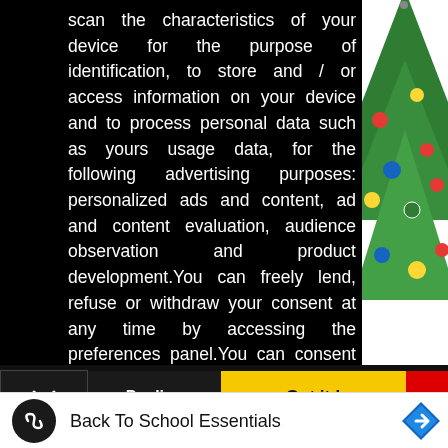scan the characteristics of your device for the purpose of identification, to store and / or access information on your device and to process personal data such as yours usage data, for the following advertising purposes: personalized ads and content, ad and content evaluation, audience observation and product development.You can freely lend, refuse or withdraw your consent at any time by accessing the preferences panel.You can consent to the use of these technologies by using the Accept button.Can we use your data to serve you personalized ads?
Read more about your privacy HERE
Decline
Got it !
[Figure (illustration): Partial view of a Christmas tree with colorful ornaments on white background, cropped on the right side]
Back To School Essentials
[Figure (logo): Round black icon with a white infinity/loop symbol inside]
[Figure (illustration): Blue diamond-shaped navigation arrow icon]